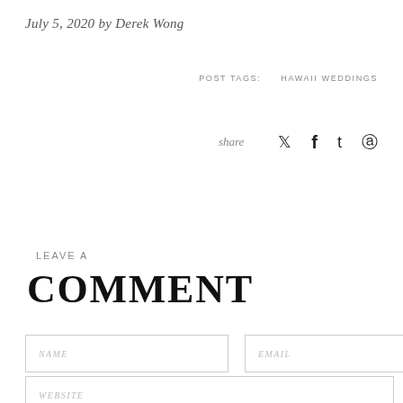July 5, 2020 by Derek Wong
POST TAGS:    HAWAII WEDDINGS
share  🐦  f  t  ⓟ
LEAVE A
COMMENT
NAME input field
EMAIL input field
WEBSITE input field